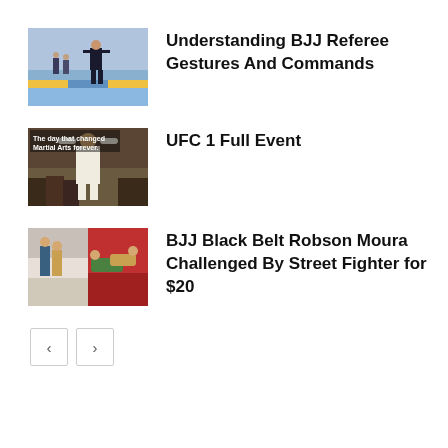[Figure (photo): BJJ referee standing on mat with colored floor markings]
Understanding BJJ Referee Gestures And Commands
[Figure (photo): Fighter raising arms with text 'The day that changed Martial Arts forever.']
UFC 1 Full Event
[Figure (photo): Two fighters grappling on mat, two-panel image]
BJJ Black Belt Robson Moura Challenged By Street Fighter for $20